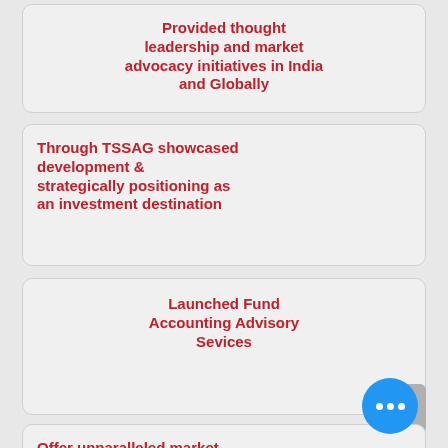Provided thought leadership and market advocacy initiatives in India and Globally
Through TSSAG showcased development & strategically positioning as an investment destination
Launched Fund Accounting Advisory Sevices
Offer unparalleled market intelligence, expertise, international network